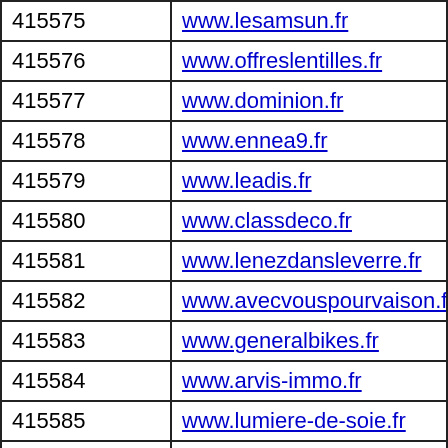| ID | URL |
| --- | --- |
| 415575 | www.lesamsun.fr |
| 415576 | www.offreslentilles.fr |
| 415577 | www.dominion.fr |
| 415578 | www.ennea9.fr |
| 415579 | www.leadis.fr |
| 415580 | www.classdeco.fr |
| 415581 | www.lenezdansleverre.fr |
| 415582 | www.avecvouspourvaison.fr |
| 415583 | www.generalbikes.fr |
| 415584 | www.arvis-immo.fr |
| 415585 | www.lumiere-de-soie.fr |
| 415586 | www.coffresabijoux.fr |
| 415587 | www.ownage.fr |
| 415588 | www.happy-city.fr |
| 415589 | www.auxcouleursgourmandes.fr |
| 415590 | www.relaxozen.fr |